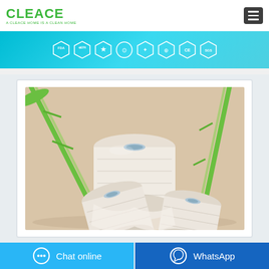[Figure (logo): CLEACE logo with tagline 'A CLEACE HOME IS A CLEAN HOME' in green]
[Figure (infographic): Banner with certification badges: FDA, EPA, and other quality certifications (CE, SGS, etc.) on a teal gradient background]
[Figure (photo): Product photo showing three rolls of white toilet paper with bamboo stalks in the background on a beige surface]
Chat online
WhatsApp